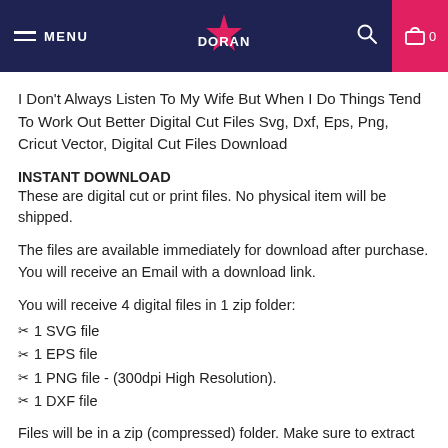MENU | DORAN | 0
I Don't Always Listen To My Wife But When I Do Things Tend To Work Out Better Digital Cut Files Svg, Dxf, Eps, Png, Cricut Vector, Digital Cut Files Download
INSTANT DOWNLOAD
These are digital cut or print files. No physical item will be shipped.
The files are available immediately for download after purchase. You will receive an Email with a download link.
You will receive 4 digital files in 1 zip folder:
✂ 1 SVG file
✂ 1 EPS file
✂ 1 PNG file - (300dpi High Resolution).
✂ 1 DXF file
Files will be in a zip (compressed) folder. Make sure to extract files before trying to access files (right click zip folder, select "extract all..."